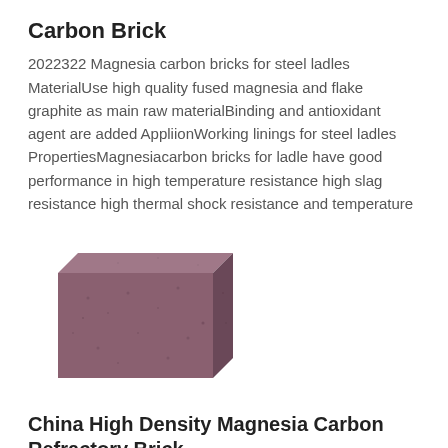Carbon Brick
2022322 Magnesia carbon bricks for steel ladles MaterialUse high quality fused magnesia and flake graphite as main raw materialBinding and antioxidant agent are added AppliionWorking linings for steel ladles PropertiesMagnesiacarbon bricks for ladle have good performance in high temperature resistance high slag resistance high thermal shock resistance and temperature
[Figure (photo): A dark purplish-brown magnesia carbon refractory brick, roughly cubic in shape, shown against a white background.]
China High Density Magnesia Carbon Refractory Brick
2022321 We are a primary subsidiary of China